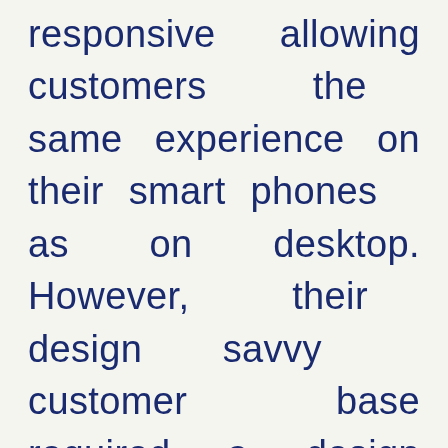responsive allowing customers the same experience on their smart phones as on desktop. However, their design savvy customer base required a design update capable of taking them into the next decade.